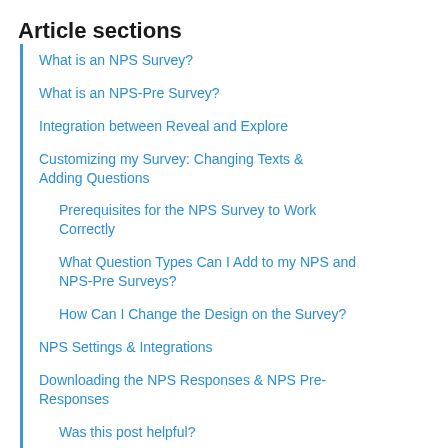Article sections
What is an NPS Survey?
What is an NPS-Pre Survey?
Integration between Reveal and Explore
Customizing my Survey: Changing Texts & Adding Questions
Prerequisites for the NPS Survey to Work Correctly
What Question Types Can I Add to my NPS and NPS-Pre Surveys?
How Can I Change the Design on the Survey?
NPS Settings & Integrations
Downloading the NPS Responses & NPS Pre-Responses
Was this post helpful?